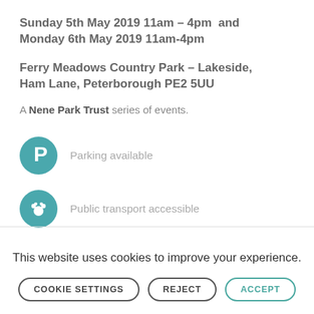Sunday 5th May 2019 11am – 4pm  and Monday 6th May 2019 11am-4pm
Ferry Meadows Country Park – Lakeside, Ham Lane, Peterborough PE2 5UU
A Nene Park Trust series of events.
Parking available
Public transport accessible
This website uses cookies to improve your experience.
COOKIE SETTINGS  REJECT  ACCEPT